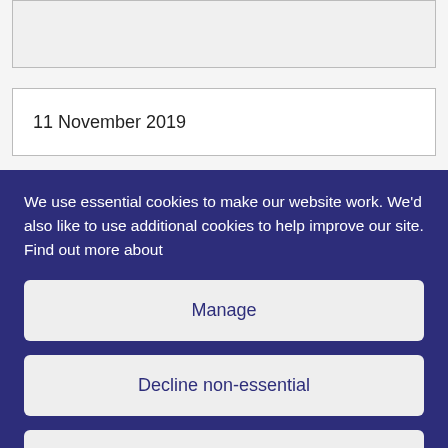11 November 2019
We use essential cookies to make our website work. We'd also like to use additional cookies to help improve our site. Find out more about
Manage
Decline non-essential
Accept all